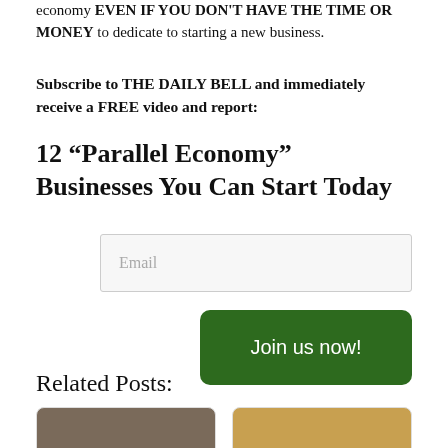economy EVEN IF YOU DON'T HAVE THE TIME OR MONEY to dedicate to starting a new business.
Subscribe to THE DAILY BELL and immediately receive a FREE video and report:
12 “Parallel Economy” Businesses You Can Start Today
Email
Join us now!
Related Posts:
[Figure (photo): Thumbnail image of a person, left related post card]
[Figure (photo): Thumbnail image, right related post card]